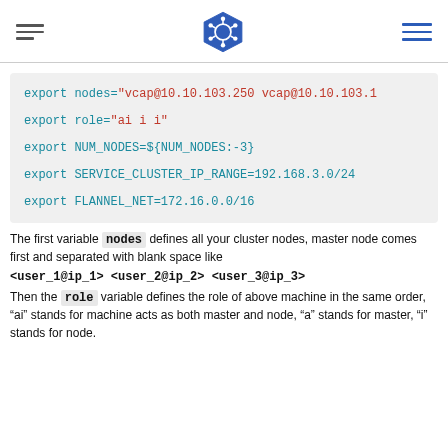Kubernetes navigation header with logo
[Figure (screenshot): Code block showing export commands: export nodes="vcap@10.10.103.250 vcap@10.10.103.1", export role="ai i i", export NUM_NODES=${NUM_NODES:-3}, export SERVICE_CLUSTER_IP_RANGE=192.168.3.0/24, export FLANNEL_NET=172.16.0.0/16]
The first variable nodes defines all your cluster nodes, master node comes first and separated with blank space like
<user_1@ip_1> <user_2@ip_2> <user_3@ip_3>
Then the role variable defines the role of above machine in the same order, "ai" stands for machine acts as both master and node, "a" stands for master, "i" stands for node.